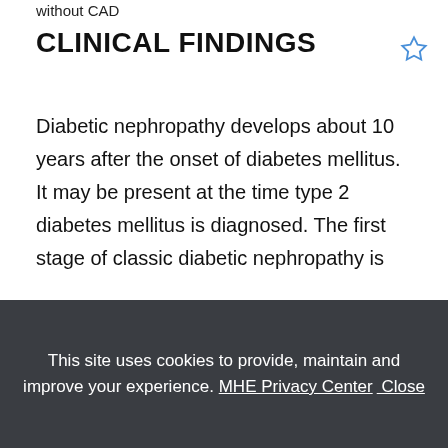without CAD
CLINICAL FINDINGS
Diabetic nephropathy develops about 10 years after the onset of diabetes mellitus. It may be present at the time type 2 diabetes mellitus is diagnosed. The first stage of classic diabetic nephropathy is hyperfiltration with an increase in GFR, followed by the development of microalbuminuria (30–300 mg/day). With progression, albuminuria increases to
This site uses cookies to provide, maintain and improve your experience. MHE Privacy Center  Close